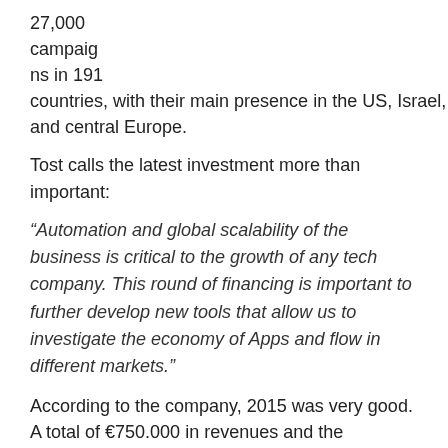27,000 campaig ns in 191 countries, with their main presence in the US, Israel, India and central Europe.
and also to expand their team.
Tost calls the latest investment more than important:
“Automation and global scalability of the business is critical to the growth of any tech company. This round of financing is important to further develop new tools that allow us to investigate the economy of Apps and flow in different markets.”
According to the company, 2015 was very good. A total of €750.000 in revenues and the predictions for 2016 is to reach between 1-3 Millions of revenues.